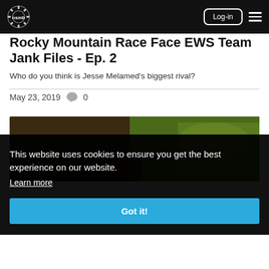nsmb [logo] | Log-in | menu
Rocky Mountain Race Face EWS Team Jank Files - Ep. 2
Who do you think is Jesse Melamed's biggest rival?
May 23, 2019   0
[Figure (photo): Outdoor mountain biking photo, partially visible behind cookie consent overlay]
This website uses cookies to ensure you get the best experience on our website.
Learn more
Got it!